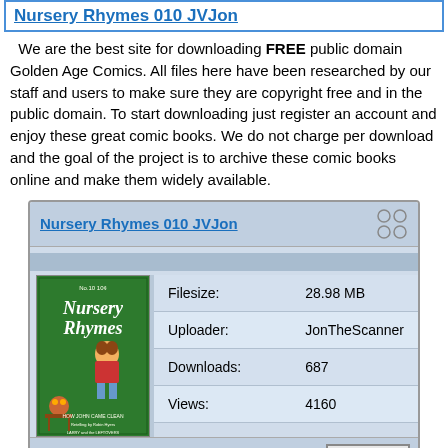Nursery Rhymes 010  JVJon
We are the best site for downloading FREE public domain Golden Age Comics. All files here have been researched by our staff and users to make sure they are copyright free and in the public domain. To start downloading just register an account and enjoy these great comic books. We do not charge per download and the goal of the project is to archive these comic books online and make them widely available.
Nursery Rhymes 010  JVJon
| Field | Value |
| --- | --- |
| Filesize: | 28.98 MB |
| Uploader: | JonTheScanner |
| Downloads: | 687 |
| Views: | 4160 |